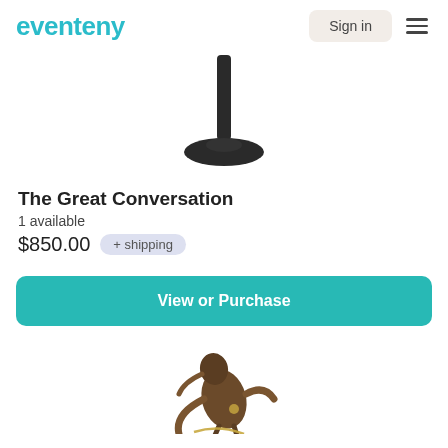eventeny
[Figure (photo): A black metal sculpture stand/pedestal with a circular base and thin vertical pole, viewed from the side on a white background]
The Great Conversation
1 available
$850.00  + shipping
View or Purchase
[Figure (photo): A bronze-colored sculptural figure, partially visible, showing what appears to be a bird or abstract creature with extended wings/arms, on a white background]